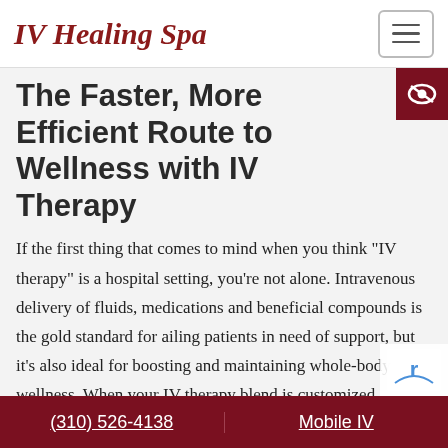IV Healing Spa
The Faster, More Efficient Route to Wellness with IV Therapy
If the first thing that comes to mind when you think "IV therapy" is a hospital setting, you're not alone. Intravenous delivery of fluids, medications and beneficial compounds is the gold standard for ailing patients in need of support, but it's also ideal for boosting and maintaining whole-body wellness. When your IV therapy blend is customized expressly for your body and administered, every valuable
(310) 526-4138   Mobile IV